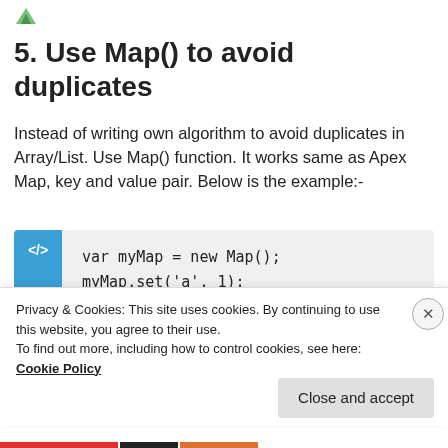[Figure (logo): Small green leaf/logo icon in top left corner]
5. Use Map() to avoid duplicates
Instead of writing own algorithm to avoid duplicates in Array/List. Use Map() function. It works same as Apex Map, key and value pair. Below is the example:-
[Figure (screenshot): Code block with blue sidebar showing code snippet: var myMap = new Map(); myMap.set('a', 1); myMap.set('b', 2); myMap.set('c', 2);]
Privacy & Cookies: This site uses cookies. By continuing to use this website, you agree to their use.
To find out more, including how to control cookies, see here:
Cookie Policy
Close and accept